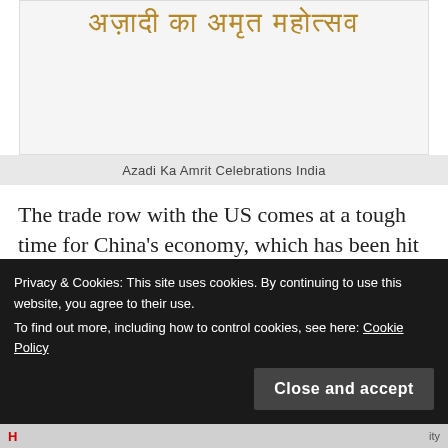[Figure (illustration): Azadi Ka Amrit Mahotsav logo with Devanagari script text in gold/amber color on a light background]
Azadi Ka Amrit Celebrations India
The trade row with the US comes at a tough time for China's economy, which has been hit by the government's efforts to tackle a mountain of debt, with credit tightening and infrastructure investment falling.
Privacy & Cookies: This site uses cookies. By continuing to use this website, you agree to their use.
To find out more, including how to control cookies, see here: Cookie Policy
Close and accept
H ... ity